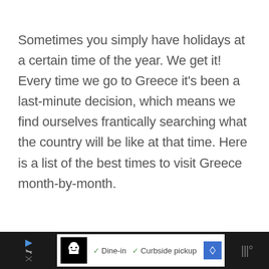Sometimes you simply have holidays at a certain time of the year. We get it! Every time we go to Greece it's been a last-minute decision, which means we find ourselves frantically searching what the country will be like at that time. Here is a list of the best times to visit Greece month-by-month.
[Figure (screenshot): Advertisement bar at bottom of page showing a restaurant ad with chef logo, dine-in and curbside pickup options with checkmarks, a blue navigation diamond icon, and dark side panels]